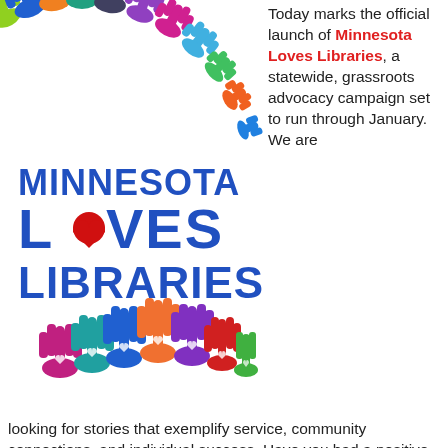[Figure (logo): Minnesota Loves Libraries logo with colorful hands around the text. Top row shows many colorful raised hands in an arc. Text reads MINNESOTA LOVES LIBRARIES in blue bold letters with a red heart replacing the O in LOVES. Bottom shows more colorful raised hands.]
Today marks the official launch of Minnesota Loves Libraries, a statewide, grassroots advocacy campaign set to run through January. We are looking for stories that exemplify service, community connections, and individual success. Have you had a positive interaction with a library staff member? Did you attend a program that taught you something? Maybe you were able to access information that helped you get a job or improve your work skills, or maybe a librarian guided you to the perfect book to share with your child